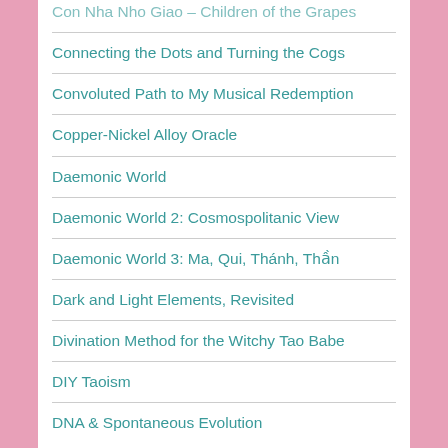Con Nha Nho Giao – Children of the Grapes
Connecting the Dots and Turning the Cogs
Convoluted Path to My Musical Redemption
Copper-Nickel Alloy Oracle
Daemonic World
Daemonic World 2: Cosmospolitanic View
Daemonic World 3: Ma, Qui, Thánh, Thần
Dark and Light Elements, Revisited
Divination Method for the Witchy Tao Babe
DIY Taoism
DNA & Spontaneous Evolution